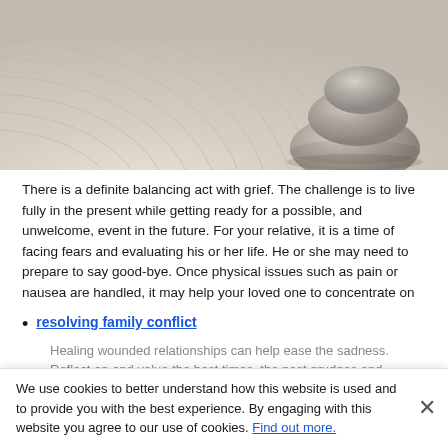[Figure (photo): Zen garden with stacked stones balanced on raked sand with circular ripple patterns]
There is a definite balancing act with grief. The challenge is to live fully in the present while getting ready for a possible, and unwelcome, event in the future. For your relative, it is a time of facing fears and evaluating his or her life. He or she may need to prepare to say good-bye. Once physical issues such as pain or nausea are handled, it may help your loved one to concentrate on
resolving family conflict
Healing wounded relationships can help ease the sadness. Reflect on and value the best times, the past grudges and misunderstandings. If there are family members who are not speaking to each other, the dying person's family members
We use cookies to better understand how this website is used and to provide you with the best experience. By engaging with this website you agree to our use of cookies. Find out more.